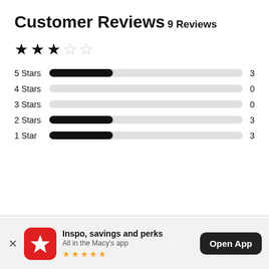Customer Reviews
9 Reviews
[Figure (bar-chart): Star rating distribution]
Inspo, savings and perks
All in the Macy's app
Open App